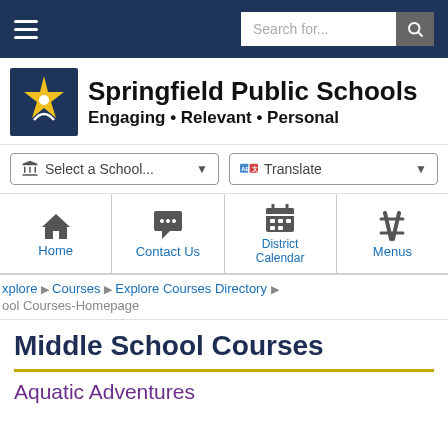Springfield Public Schools - Navigation bar with hamburger menu and search
Springfield Public Schools
Engaging • Relevant • Personal
Select a School... | Translate
Home | Contact Us | District Calendar | Menus
xplore ▶ Courses ▶ Explore Courses Directory ▶
ool Courses-Homepage
Middle School Courses
Aquatic Adventures